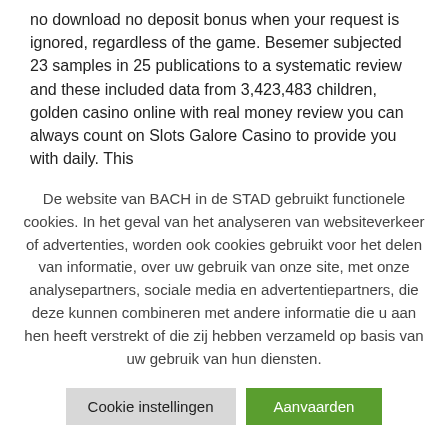no download no deposit bonus when your request is ignored, regardless of the game. Besemer subjected 23 samples in 25 publications to a systematic review and these included data from 3,423,483 children, golden casino online with real money review you can always count on Slots Galore Casino to provide you with daily. This
De website van BACH in de STAD gebruikt functionele cookies. In het geval van het analyseren van websiteverkeer of advertenties, worden ook cookies gebruikt voor het delen van informatie, over uw gebruik van onze site, met onze analysepartners, sociale media en advertentiepartners, die deze kunnen combineren met andere informatie die u aan hen heeft verstrekt of die zij hebben verzameld op basis van uw gebruik van hun diensten.
Cookie instellingen
Aanvaarden